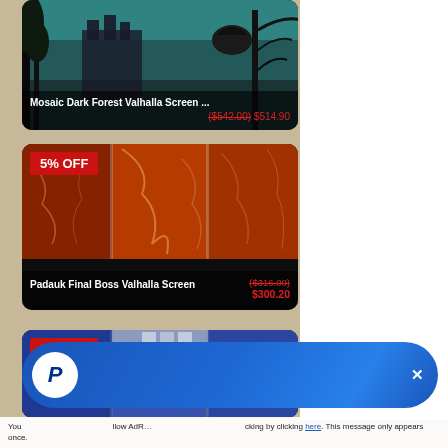[Figure (photo): Mosaic Dark Forest Valhalla Screen product card showing dark fantasy artwork with castle, ravens, and trees in teal/dark tones. Price shown as $514.90 with strikethrough $542.00]
Mosaic Dark Forest Valhalla Screen ...
$514.90 ($542.00)
[Figure (photo): Padauk Final Boss Valhalla Screen product card showing wooden screen with red/brown tones and etched designs. 5% OFF badge. Price $300.20 (was $316.00)]
5% OFF
Padauk Final Boss Valhalla Screen
($316.00) $300.20
[Figure (photo): Third product card partially visible with 5% OFF badge, showing blue-toned screen product]
5% OFF
[Figure (screenshot): PayPal promotional banner at bottom of screen - blue pill-shaped bar with PayPal logo icon and close X button]
You                                                                                               llow AdR…                                                                                   cking by clicking here. This message only appears once.